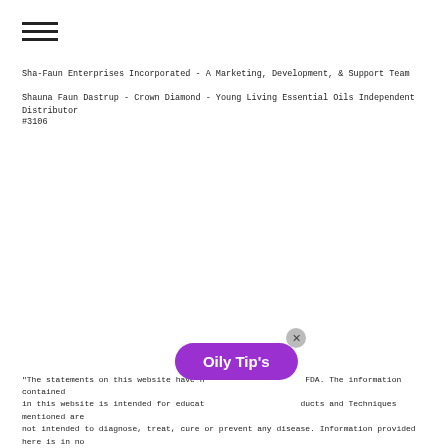[Figure (other): Hamburger menu icon — three horizontal lines stacked]
Sha-Faun Enterprises Incorporated - A Marketing, Development, & Support Team
Shauna Faun Dastrup - Crown Diamond - Young Living Essential Oils Independent Distributor
#3106
[Figure (other): Purple rounded pill/badge overlay reading 'Oily Tip’s' with a grey X close button]
"The statements on this website have [not been evaluated by the] FDA. The information contained in this website is intended for educat[ional purposes only. Pro]ducts and Techniques mentioned are not intended to diagnose, treat, cure or prevent any disease. Information provided here is in no